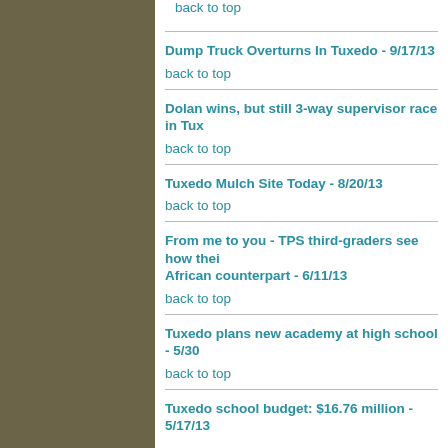back to top
Dump Truck Overturns In Tuxedo - 9/17/13
back to top
Dolan wins, but still 3-way supervisor race in Tux…
back to top
Tuxedo Mulch Site Today - 8/20/13
back to top
From me to you - TPS third-graders see how their African counterpart - 6/11/13
back to top
Tuxedo plans new academy at high school - 5/30…
back to top
Tuxedo school budget: $16.76 million - 5/17/13